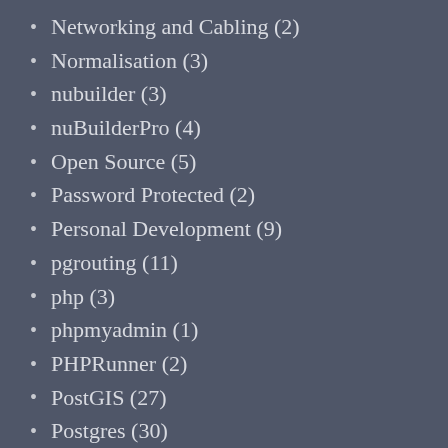Networking and Cabling (2)
Normalisation (3)
nubuilder (3)
nuBuilderPro (4)
Open Source (5)
Password Protected (2)
Personal Development (9)
pgrouting (11)
php (3)
phpmyadmin (1)
PHPRunner (2)
PostGIS (27)
Postgres (30)
Powershell (1)
Problem Solving (9)
Productivity (20)